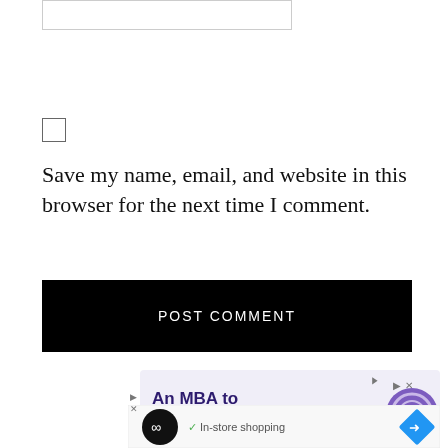[input box]
[checkbox]
Save my name, email, and website in this browser for the next time I comment.
POST COMMENT
[Figure (other): Advertisement banner: 'An MBA to Transform Your Life' with purple circle logo, and a second ad card showing a black circular icon with infinity symbol, checkmark 'In-store shopping', and a blue diamond arrow icon.]